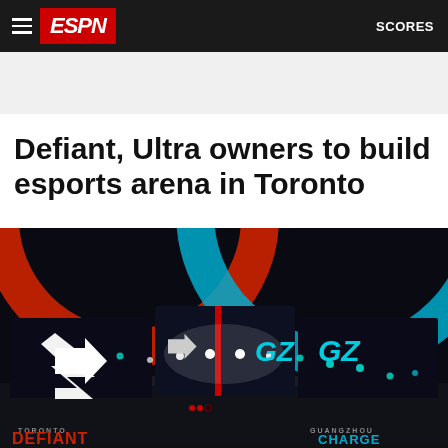ESPN  SCORES
Defiant, Ultra owners to build esports arena in Toronto
[Figure (photo): Esports arena stage with Toronto Defiant and Guangzhou Charge team logos displayed on screens, dramatic red and blue circular lighting rigs overhead, with stage lighting and branding visible.]